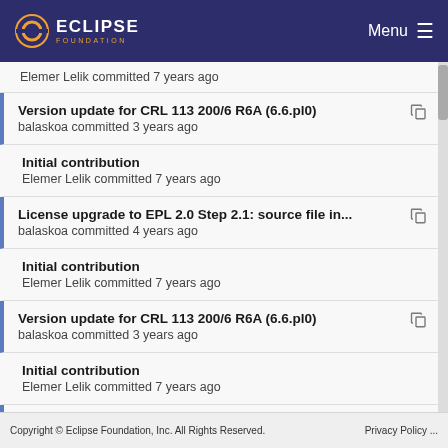Eclipse Foundation — Menu
Elemer Lelik committed 7 years ago
Version update for CRL 113 200/6 R6A (6.6.pl0)
balaskoa committed 3 years ago
Initial contribution
Elemer Lelik committed 7 years ago
License upgrade to EPL 2.0 Step 2.1: source file in...
balaskoa committed 4 years ago
Initial contribution
Elemer Lelik committed 7 years ago
Version update for CRL 113 200/6 R6A (6.6.pl0)
balaskoa committed 3 years ago
Initial contribution
Elemer Lelik committed 7 years ago
Version update for CRL 113 200/6 R6A (6.6.pl0)
balaskoa committed 3 years ago
Copyright © Eclipse Foundation, Inc. All Rights Reserved.   Privacy Policy ...